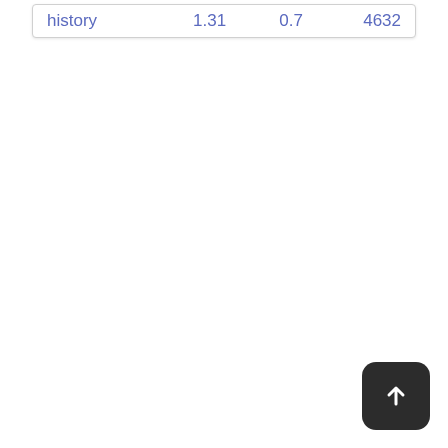| history | 1.31 | 0.7 | 4632 |
[Figure (other): Dark rounded square button with upward arrow icon (scroll to top)]